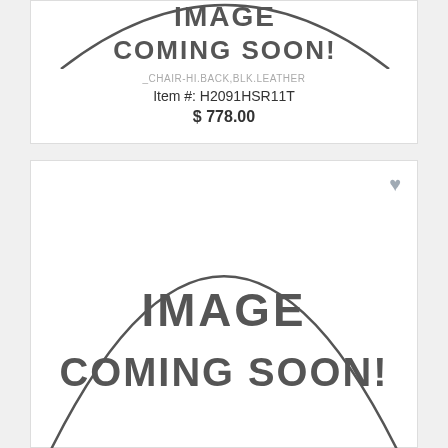[Figure (illustration): IMAGE COMING SOON placeholder graphic with circular outline for chair product]
_CHAIR-HI.BACK,BLK.LEATHER
Item #: H2091HSR11T
$ 778.00
[Figure (illustration): IMAGE COMING SOON placeholder graphic with circular outline for high back chair product]
_HIGH BACK CHAIR-BLACK SOFTTHREAD LEATHER
Item #: H2095HPWST11T